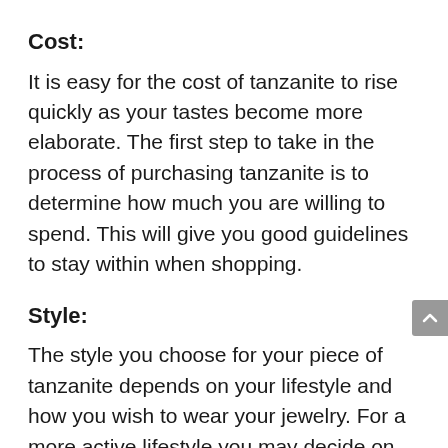Cost:
It is easy for the cost of tanzanite to rise quickly as your tastes become more elaborate. The first step to take in the process of purchasing tanzanite is to determine how much you are willing to spend. This will give you good guidelines to stay within when shopping.
Style:
The style you choose for your piece of tanzanite depends on your lifestyle and how you wish to wear your jewelry. For a more active lifestyle you may decide on some simple stud earrings. For an elegant statement piece you may sway towards a